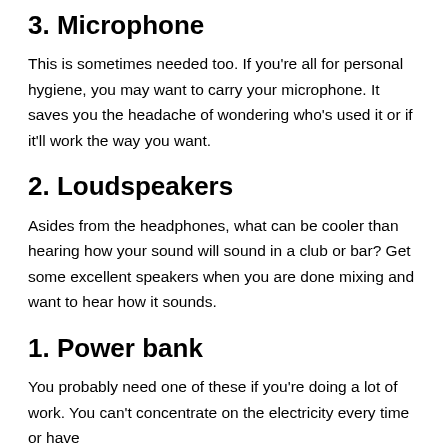3. Microphone
This is sometimes needed too. If you're all for personal hygiene, you may want to carry your microphone. It saves you the headache of wondering who's used it or if it'll work the way you want.
2. Loudspeakers
Asides from the headphones, what can be cooler than hearing how your sound will sound in a club or bar? Get some excellent speakers when you are done mixing and want to hear how it sounds.
1. Power bank
You probably need one of these if you're doing a lot of work. You can't concentrate on the electricity every time or have